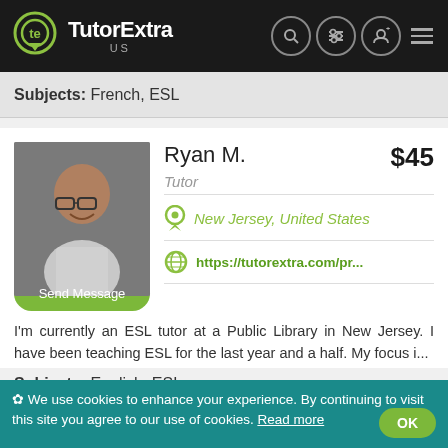TutorExtra US
Subjects: French, ESL
Ryan M.
Tutor
New Jersey, United States
https://tutorextra.com/pr...
$45
[Figure (photo): Profile photo of Ryan M., a bald African-American man wearing glasses, smiling]
Send Message
I'm currently an ESL tutor at a Public Library in New Jersey. I have been teaching ESL for the last year and a half. My focus i...
Subjects: English, ESL
✿ We use cookies to enhance your experience. By continuing to visit this site you agree to our use of cookies. Read more  OK